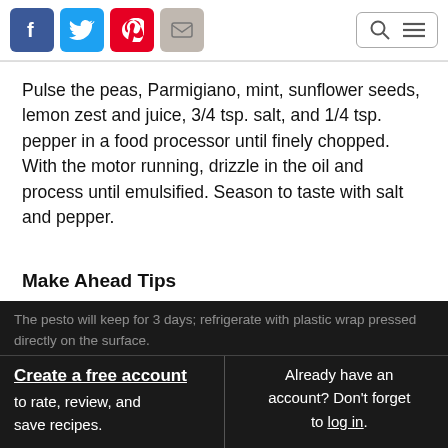Social share icons (Facebook, Twitter, Pinterest, Email) and search/menu controls
Pulse the peas, Parmigiano, mint, sunflower seeds, lemon zest and juice, 3/4 tsp. salt, and 1/4 tsp. pepper in a food processor until finely chopped. With the motor running, drizzle in the oil and process until emulsified. Season to taste with salt and pepper.
Make Ahead Tips
The pesto will keep for 3 days; refrigerate with plastic wrap pressed directly on the surface.
Create a free account to rate, review, and save recipes.
Already have an account? Don't forget to log in.